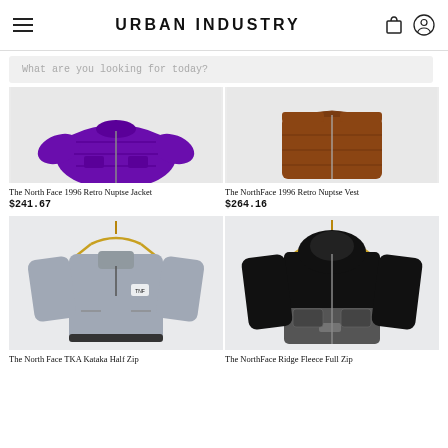URBAN INDUSTRY
What are you looking for today?
[Figure (photo): Purple The North Face 1996 Retro Nuptse puffer jacket on white background]
The North Face 1996 Retro Nuptse Jacket
$241.67
[Figure (photo): Brown The North Face 1996 Retro Nuptse Vest on white background]
The NorthFace 1996 Retro Nuptse Vest
$264.16
[Figure (photo): Grey The North Face TKA Kataka Half Zip fleece jacket on hanger]
The North Face TKA Kataka Half Zip
[Figure (photo): Black The North Face Ridge Fleece Full Zip hoodie on hanger]
The NorthFace Ridge Fleece Full Zip